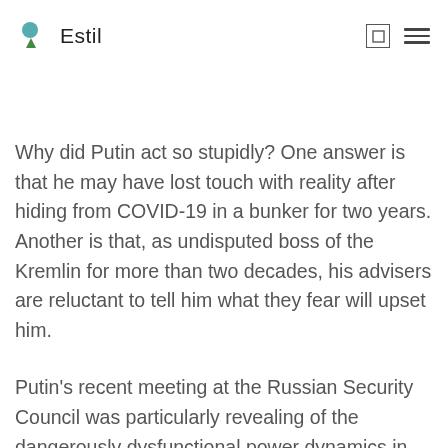Estil
Why did Putin act so stupidly? One answer is that he may have lost touch with reality after hiding from COVID-19 in a bunker for two years. Another is that, as undisputed boss of the Kremlin for more than two decades, his advisers are reluctant to tell him what they fear will upset him.
Putin's recent meeting at the Russian Security Council was particularly revealing of the dangerously dysfunctional power dynamics in the Kremlin, with Putin alone in a throne-like seat